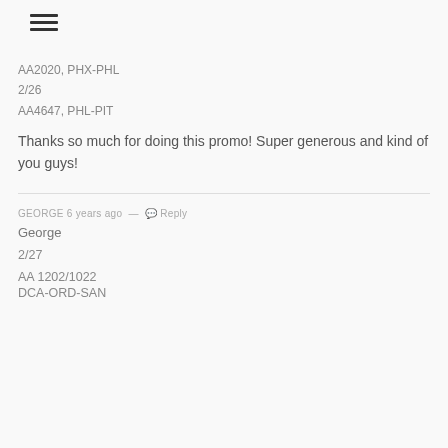AA2020, PHX-PHL
2/26
AA4647, PHL-PIT
Thanks so much for doing this promo! Super generous and kind of you guys!
GEORGE 6 years ago — Reply
George
2/27
AA 1202/1022
DCA-ORD-SAN